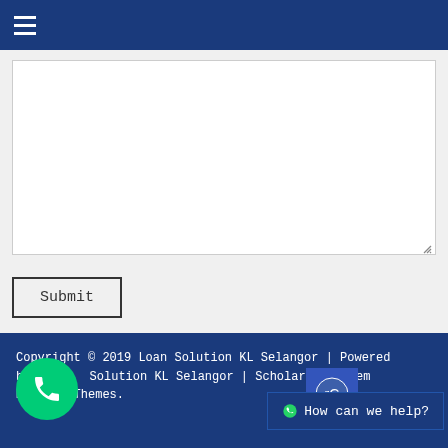≡ (navigation menu)
[Figure (screenshot): A white textarea input box with a resize handle in the bottom-right corner, on a light gray background.]
Submit
Copyright © 2019 Loan Solution KL Selangor | Powered by Loan Solution KL Selangor | Scholarship Theme by Mystery Themes.